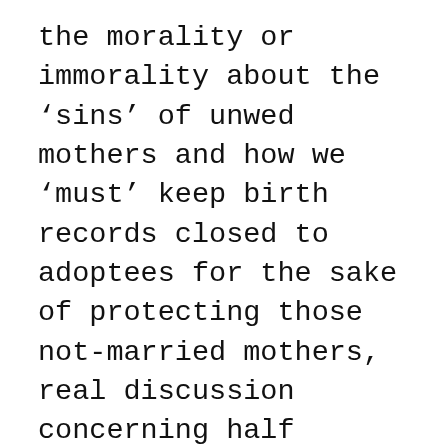the morality or immorality about the ‘sins’ of unwed mothers and how we ‘must’ keep birth records closed to adoptees for the sake of protecting those not-married mothers, real discussion concerning half orphans and full orphans has been lost inside this moralistic mockery. I’m tired of being lumped into this adoption abyss that does not pertain to how I